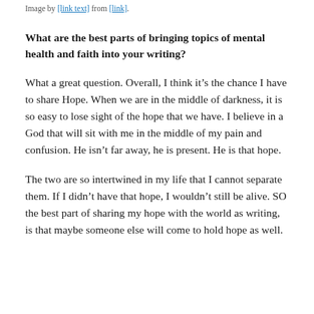Image by [link] from [link].
What are the best parts of bringing topics of mental health and faith into your writing?
What a great question. Overall, I think it’s the chance I have to share Hope. When we are in the middle of darkness, it is so easy to lose sight of the hope that we have. I believe in a God that will sit with me in the middle of my pain and confusion. He isn’t far away, he is present. He is that hope.
The two are so intertwined in my life that I cannot separate them. If I didn’t have that hope, I wouldn’t still be alive. SO the best part of sharing my hope with the world as writing, is that maybe someone else will come to hold hope as well.